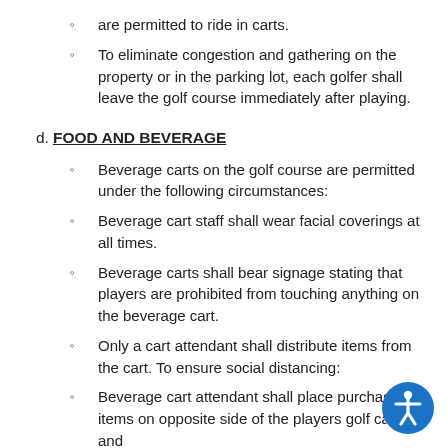are permitted to ride in carts.
To eliminate congestion and gathering on the property or in the parking lot, each golfer shall leave the golf course immediately after playing.
d. FOOD AND BEVERAGE
Beverage carts on the golf course are permitted under the following circumstances:
Beverage cart staff shall wear facial coverings at all times.
Beverage carts shall bear signage stating that players are prohibited from touching anything on the beverage cart.
Only a cart attendant shall distribute items from the cart. To ensure social distancing:
Beverage cart attendant shall place purchased items on opposite side of the players golf cart; and